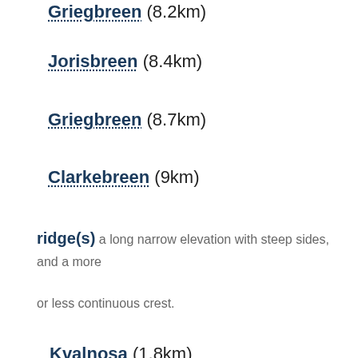Griegbreen (8.2km)
Jorisbreen (8.4km)
Griegbreen (8.7km)
Clarkebreen (9km)
ridge(s) a long narrow elevation with steep sides, and a more or less continuous crest.
Kvalnosa (1.8km)
Hageruphøgda (2.6km)